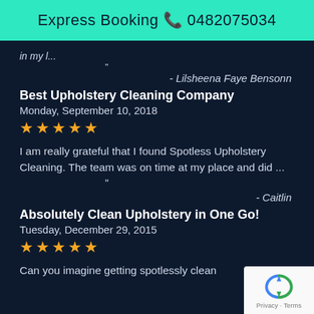Express Booking 📞 0482075034
in my l...
"
- Lilsheena Faye Bensonn
Best Upholstery Cleaning Company
Monday, September 10, 2018
★★★★★
I am really grateful that I found Spotless Upholstery Cleaning. The team was on time at my place and did ...
"
- Caitlin
Absolutely Clean Upholstery in One Go!
Tuesday, December 29, 2015
★★★★★
Can you imagine getting spotlessly clean